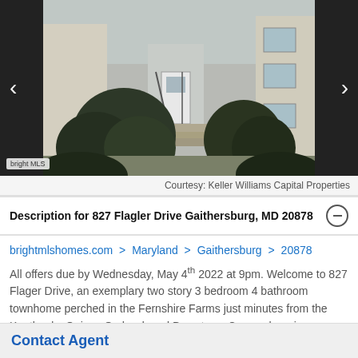[Figure (photo): Exterior photo of townhome at 827 Flagler Drive, Gaithersburg MD 20878 with shrubs and front steps visible. Bright MLS watermark in lower left.]
Courtesy: Keller Williams Capital Properties
Description for 827 Flagler Drive Gaithersburg, MD 20878
brightmlshomes.com > Maryland > Gaithersburg > 20878
All offers due by Wednesday, May 4th 2022 at 9pm. Welcome to 827 Flager Drive, an exemplary two story 3 bedroom 4 bathroom townhome perched in the Fernshire Farms just minutes from the Kentlands, Quince Orchard, and Downtown Crown shopping communities! This regal townhome boasts freshly painted walls and a spaciously open floor plan that's
Contact Agent